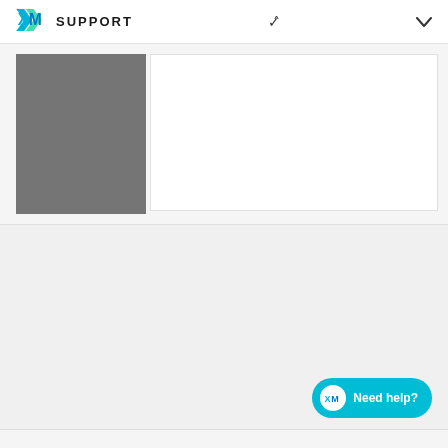XM SUPPORT
[Figure (screenshot): Partially visible screenshot with a gray rectangular block on the left and a white panel on the right]
One of your workflows was unable to be completed because of an error.
Workflow
Post to Site
Started: May 5th 2020, 11:10:04 am
Task with error
1. WebService
If you believe you have received this email in error, contact your administrator.